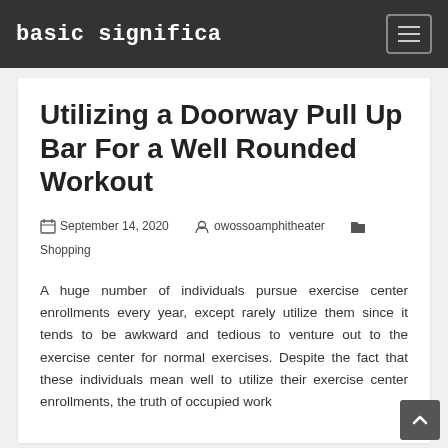basic significa
Utilizing a Doorway Pull Up Bar For a Well Rounded Workout
September 14, 2020  owossoamphitheater  Shopping
A huge number of individuals pursue exercise center enrollments every year, except rarely utilize them since it tends to be awkward and tedious to venture out to the exercise center for normal exercises. Despite the fact that these individuals mean well to utilize their exercise center enrollments, the truth of occupied work